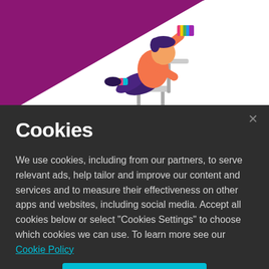[Figure (illustration): Stylized illustration of a person sitting in a chair, leaning back relaxed, holding a rainbow-colored item aloft, wearing colorful socks, against a magenta/purple diagonal background.]
Cookies
We use cookies, including from our partners, to serve relevant ads, help tailor and improve our content and services and to measure their effectiveness on other apps and websites, including social media. Accept all cookies below or select “Cookies Settings” to choose which cookies we can use. To learn more see our Cookie Policy